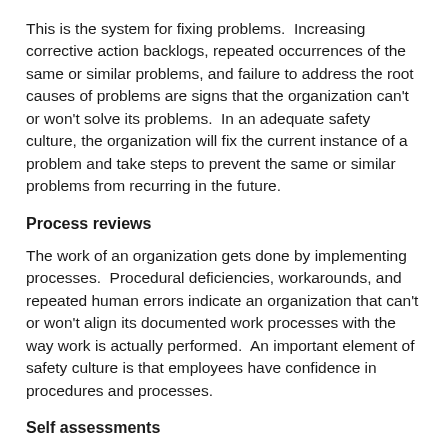This is the system for fixing problems.  Increasing corrective action backlogs, repeated occurrences of the same or similar problems, and failure to address the root causes of problems are signs that the organization can't or won't solve its problems.  In an adequate safety culture, the organization will fix the current instance of a problem and take steps to prevent the same or similar problems from recurring in the future.
Process reviews
The work of an organization gets done by implementing processes.  Procedural deficiencies, workarounds, and repeated human errors indicate an organization that can't or won't align its documented work processes with the way work is actually performed.  An important element of safety culture is that employees have confidence in procedures and processes.
Self assessments